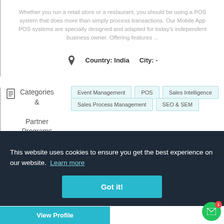Whether you run a retail store or a restaurant, you should be using a POS system that does more than simply process transactions. Our Mobile App POS systems are specially designed and adapted for today's independent business owner. Offering features ...
Country: India   City: -
Categories & Partner Programs
Event Management
POS
Sales Intelligence
Sales Process Management
SEO & SEM
This website uses cookies to ensure you get the best experience on our website. Learn more
Got it!
View Profile